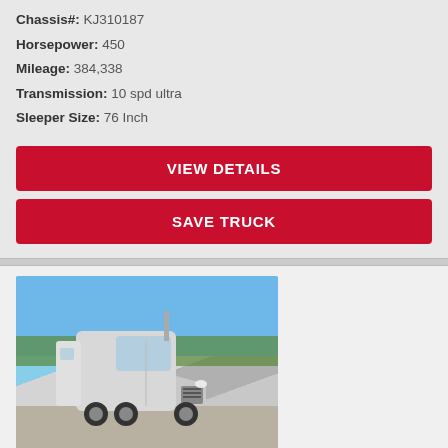Chassis#: KJ310187
Horsepower: 450
Mileage: 384,338
Transmission: 10 spd ultra
Sleeper Size: 76 Inch
VIEW DETAILS
SAVE TRUCK
[Figure (photo): White Kenworth semi-truck with sleeper cab parked in a lot, blue sky background]
Used 2019 KENWORTH